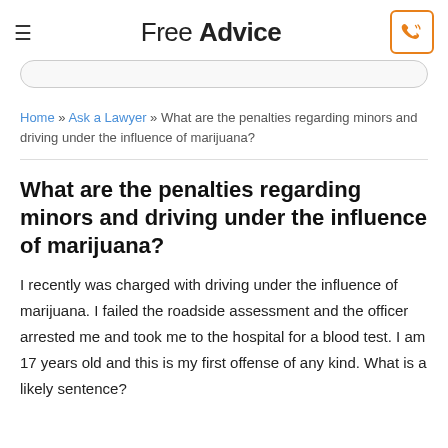Free Advice
Home » Ask a Lawyer » What are the penalties regarding minors and driving under the influence of marijuana?
What are the penalties regarding minors and driving under the influence of marijuana?
I recently was charged with driving under the influence of marijuana. I failed the roadside assessment and the officer arrested me and took me to the hospital for a blood test. I am 17 years old and this is my first offense of any kind. What is a likely sentence?